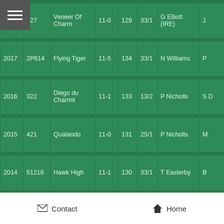| Year | No | Horse | Wt | OR | SP | Trainer | Jockey |
| --- | --- | --- | --- | --- | --- | --- | --- |
| 2018 | 127 | Veneer Of Charm | 11-0 | 129 | 33/1 | G Elliott (IRE) | J… |
| 2017 | 2P614 | Flying Tiger | 11-5 | 134 | 33/1 | N Williams | P… |
| 2016 | 322 | Diego du Charmil | 11-1 | 133 | 13/2 | P Nicholls | S… D… |
| 2015 | 421 | Qualando | 11-0 | 131 | 25/1 | P Nicholls | M… |
| 2014 | 51216 | Hawk High | 11-1 | 130 | 33/1 | T Easterby | B… |
Contact  Home